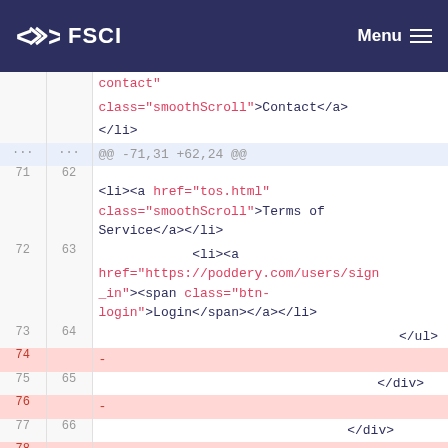FSCI  Menu
[Figure (screenshot): Git diff view showing HTML code changes in a file, with line numbers, deleted lines (pink), added lines (green), and syntax highlighting. Lines 71-79 visible with context around closing tags.]